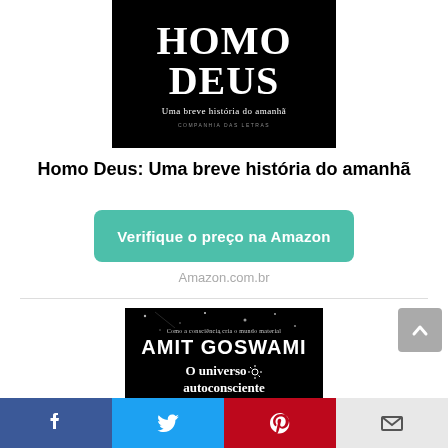[Figure (photo): Book cover of 'Homo Deus: Uma breve história do amanhã' with white title text on black background, published by Companhia das Letras]
Homo Deus: Uma breve história do amanhã
[Figure (other): Green rounded button labeled 'Verifique o preço na Amazon']
Amazon.com.br
[Figure (photo): Book cover of 'O universo autoconsciente' by Amit Goswami, black background with cosmic imagery, subtitle 'Como a consciência cria o mundo material']
[Figure (other): Social sharing bar with Facebook, Twitter, Pinterest, and Email buttons]